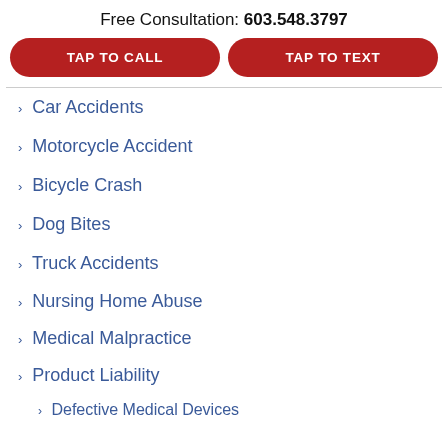Free Consultation: 603.548.3797
TAP TO CALL
TAP TO TEXT
Car Accidents
Motorcycle Accident
Bicycle Crash
Dog Bites
Truck Accidents
Nursing Home Abuse
Medical Malpractice
Product Liability
Defective Medical Devices